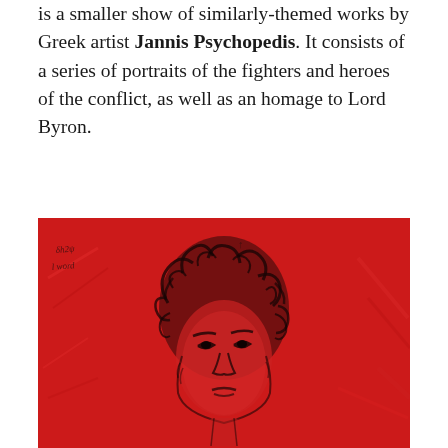is a smaller show of similarly-themed works by Greek artist Jannis Psychopedis. It consists of a series of portraits of the fighters and heroes of the conflict, as well as an homage to Lord Byron.
[Figure (photo): A red-background painting showing a portrait sketch of a person (Lord Byron) with curly hair and expressive facial features, drawn in dark lines over a vivid red painted surface. There is handwritten text in the upper left corner of the painting.]